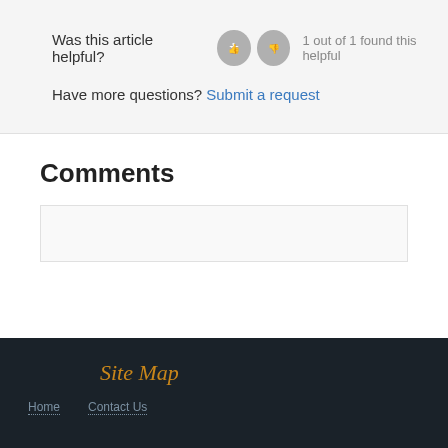Was this article helpful?  1 out of 1 found this helpful
Have more questions? Submit a request
Comments
Site Map